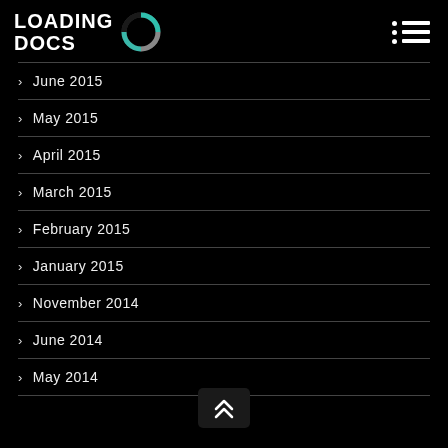LOADING DOCS
June 2015
May 2015
April 2015
March 2015
February 2015
January 2015
November 2014
June 2014
May 2014